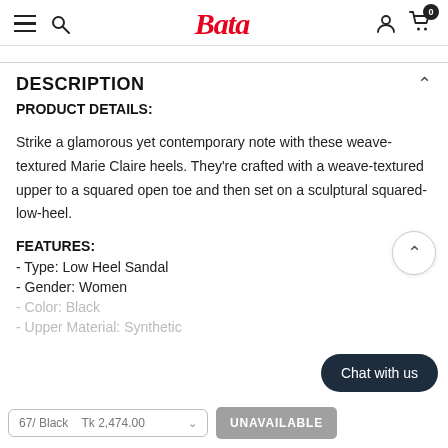Bata
DESCRIPTION
PRODUCT DETAILS:
Strike a glamorous yet contemporary note with these weave-textured Marie Claire heels. They're crafted with a weave-textured upper to a squared open toe and then set on a sculptural squared-low-heel.
FEATURES:
- Type: Low Heel Sandal
- Gender: Women
- Color: Black
- Upper Material: Synthetic